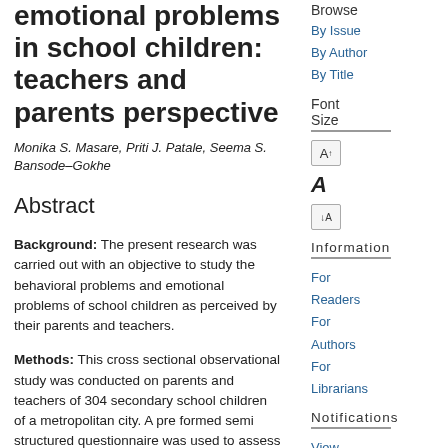emotional problems in school children: teachers and parents perspective
Monika S. Masare, Priti J. Patale, Seema S. Bansode-Gokhe
Abstract
Background: The present research was carried out with an objective to study the behavioral problems and emotional problems of school children as perceived by their parents and teachers.
Methods: This cross sectional observational study was conducted on parents and teachers of 304 secondary school children of a metropolitan city. A pre formed semi structured questionnaire was used to assess the socio-demographic profile of the students. Parents and teachers rated
Browse
By Issue
By Author
By Title
Font Size
Information
For Readers
For Authors
For Librarians
Notifications
View